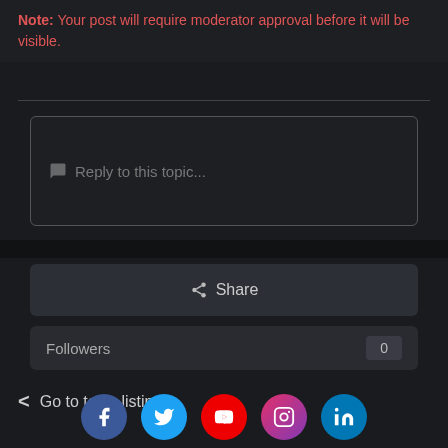Note: Your post will require moderator approval before it will be visible.
[Figure (screenshot): Reply to this topic text input box with speech bubble icon placeholder text]
Share
Followers 0
Go to topic listing
[Figure (illustration): Social media icons row: Facebook, Twitter, YouTube, Instagram, LinkedIn]